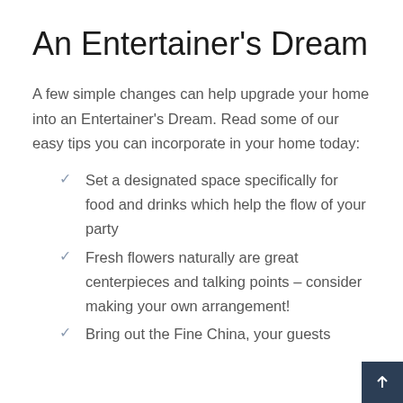An Entertainer's Dream
A few simple changes can help upgrade your home into an Entertainer's Dream. Read some of our easy tips you can incorporate in your home today:
Set a designated space specifically for food and drinks which help the flow of your party
Fresh flowers naturally are great centerpieces and talking points – consider making your own arrangement!
Bring out the Fine China, your guests...